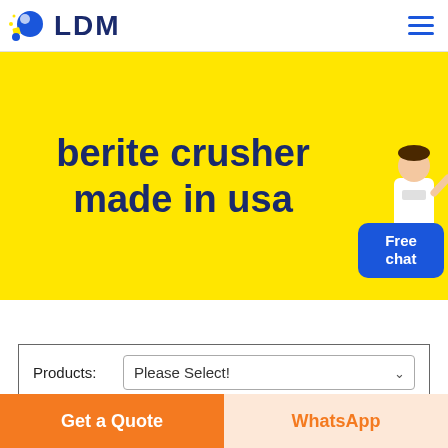LDM
berite crusher made in usa
[Figure (illustration): Free chat button with person illustration in the yellow banner area]
Products: Please Select!
Get a Quote
WhatsApp